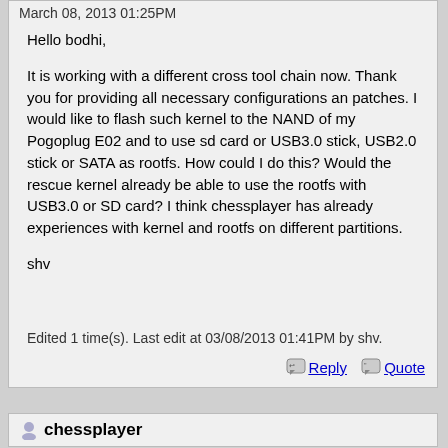March 08, 2013 01:25PM
Hello bodhi,

It is working with a different cross tool chain now. Thank you for providing all necessary configurations an patches. I would like to flash such kernel to the NAND of my Pogoplug E02 and to use sd card or USB3.0 stick, USB2.0 stick or SATA as rootfs. How could I do this? Would the rescue kernel already be able to use the rootfs with USB3.0 or SD card? I think chessplayer has already experiences with kernel and rootfs on different partitions.

shv
Edited 1 time(s). Last edit at 03/08/2013 01:41PM by shv.
Reply  Quote
chessplayer